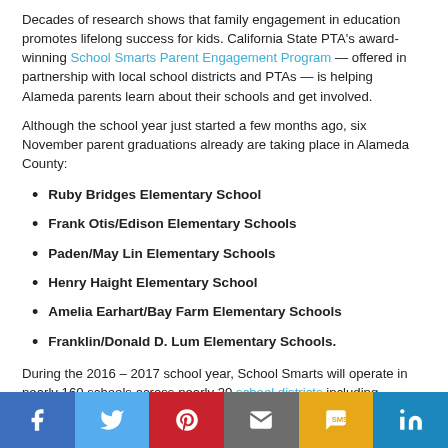Decades of research shows that family engagement in education promotes lifelong success for kids. California State PTA's award-winning School Smarts Parent Engagement Program — offered in partnership with local school districts and PTAs — is helping Alameda parents learn about their schools and get involved.
Although the school year just started a few months ago, six November parent graduations already are taking place in Alameda County:
Ruby Bridges Elementary School
Frank Otis/Edison Elementary Schools
Paden/May Lin Elementary Schools
Henry Haight Elementary School
Amelia Earhart/Bay Farm Elementary Schools
Franklin/Donald D. Lum Elementary Schools.
During the 2016 – 2017 school year, School Smarts will operate in nearly 160 schools across nearly 30 school districts including Alameda Unified School District. More